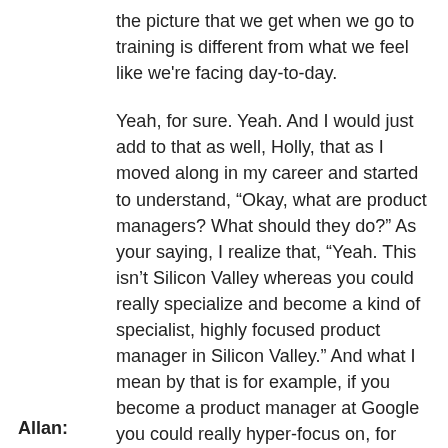the picture that we get when we go to training is different from what we feel like we're facing day-to-day.
Allan: Yeah, for sure. Yeah. And I would just add to that as well, Holly, that as I moved along in my career and started to understand, “Okay, what are product managers? What should they do?” As your saying, I realize that, “Yeah. This isn’t Silicon Valley whereas you could really specialize and become a kind of specialist, highly focused product manager in Silicon Valley.” And what I mean by that is for example, if you become a product manager at Google you could really hyper-focus on, for example, page rank or search or something. At least in Canada what I found, and I don’t